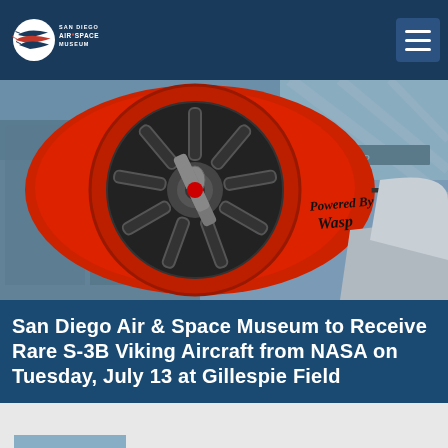San Diego Air & Space Museum
[Figure (photo): Close-up of a red radial aircraft engine with spinning propeller blades. The nose cone reads 'Powered by Wasp' with racing number 7. Museum exhibit hall visible in background with aircraft on display.]
San Diego Air & Space Museum to Receive Rare S-3B Viking Aircraft from NASA on Tuesday, July 13 at Gillespie Field
[Figure (photo): Exterior view of the San Diego Air & Space Museum building with blue banners and palm trees.]